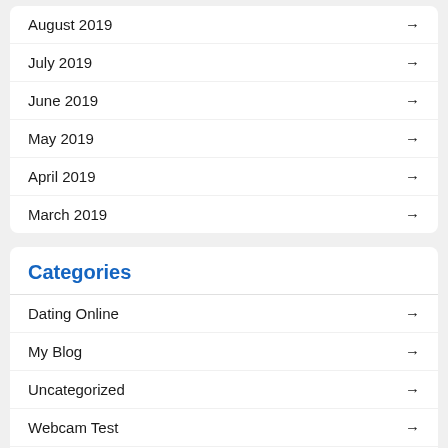August 2019
July 2019
June 2019
May 2019
April 2019
March 2019
Categories
Dating Online
My Blog
Uncategorized
Webcam Test
Windows 10 Dll-tiedostot